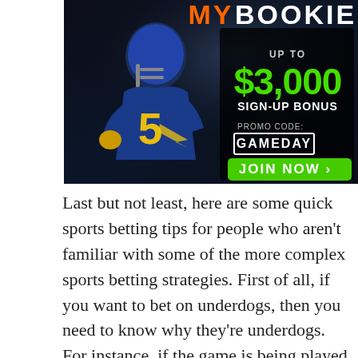[Figure (advertisement): MyBookie sports betting advertisement featuring a football player in blue jersey number 5 with yellow gloves, dark background. Shows promotional text: UP TO $3,000 SIGN-UP BONUS, PROMO CODE: GAMEDAY, JOIN NOW button.]
Last but not least, here are some quick sports betting tips for people who aren't familiar with some of the more complex sports betting strategies. First of all, if you want to bet on underdogs, then you need to know why they're underdogs. For instance, if the game is being played in a neutral location, then there's a pretty good chance that the underdogs will win. On the